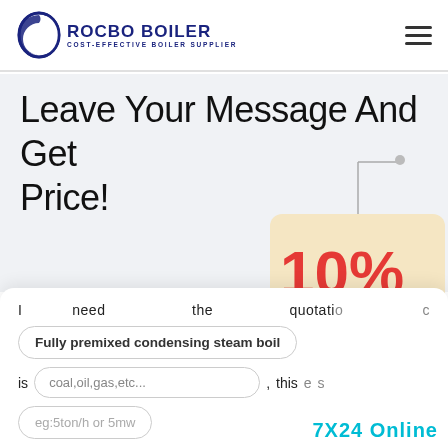[Figure (logo): Rocbo Boiler logo with circular icon and text 'ROCBO BOILER / COST-EFFECTIVE BOILER SUPPLIER' in dark blue]
Leave Your Message And Get Price!
[Figure (infographic): 10% DISCOUNT badge hanging sign with decorative bubbles and customer service representative photo]
I need the quotation of
Fully premixed condensing steam boil
is coal,oil,gas,etc... , this boilers
eg:5ton/h or 5mw
7X24 Online